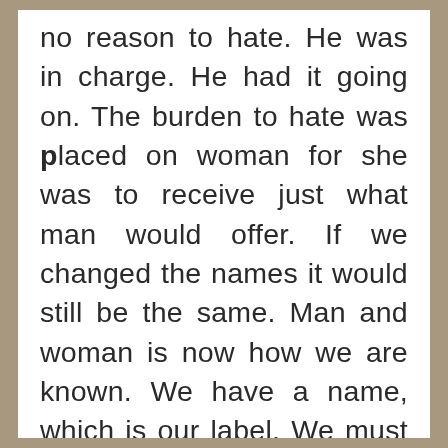no reason to hate. He was in charge. He had it going on. The burden to hate was placed on woman for she was to receive just what man would offer. If we changed the names it would still be the same. Man and woman is now how we are known. We have a name, which is our label. We must use the labels that we know by shapes and words to make sense of our world. As we grow and change our labels will change. We will not have a thought of what a thing is if it does not have a